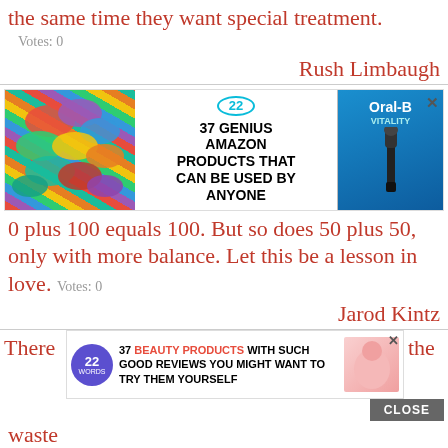the same time they want special treatment.
Votes: 0
Rush Limbaugh
[Figure (infographic): Advertisement banner: colorful scrunchies on left, text '37 GENIUS AMAZON PRODUCTS THAT CAN BE USED BY ANYONE' with 22 Words badge in center, Oral-B Vitality toothbrush on right with close X]
0 plus 100 equals 100. But so does 50 plus 50, only with more balance. Let this be a lesson in love.
Votes: 0
Jarod Kintz
CLOSE
There
[Figure (infographic): Advertisement: 22 Words badge with text '37 BEAUTY PRODUCTS WITH SUCH GOOD REVIEWS YOU MIGHT WANT TO TRY THEM YOURSELF' and product image on right with X close]
the waste
ineffective motions.
Votes: 0
Frank Buchan Gillath...